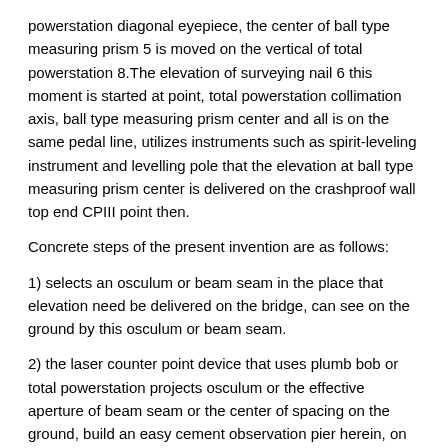powerstation diagonal eyepiece, the center of ball type measuring prism 5 is moved on the vertical of total powerstation 8.The elevation of surveying nail 6 this moment is started at point, total powerstation collimation axis, ball type measuring prism center and all is on the same pedal line, utilizes instruments such as spirit-leveling instrument and levelling pole that the elevation at ball type measuring prism center is delivered on the crashproof wall top end CPIII point then.
Concrete steps of the present invention are as follows:
1) selects an osculum or beam seam in the place that elevation need be delivered on the bridge, can see on the ground by this osculum or beam seam.
2) the laser counter point device that uses plumb bob or total powerstation projects osculum or the effective aperture of beam seam or the center of spacing on the ground, build an easy cement observation pier herein, on the observation pier, survey nail for pre-buried one piece, make center that the center or the beam of the center of surveying nail and the effective aperture of osculum stitch